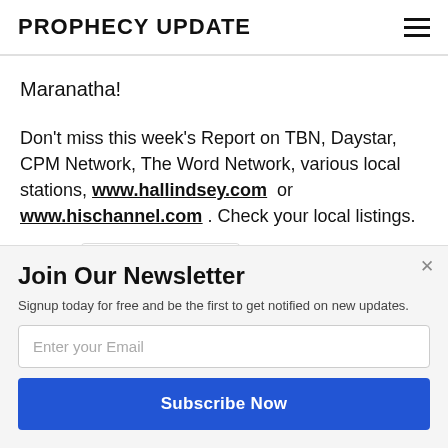PROPHECY UPDATE
Maranatha!
Don't miss this week's Report on TBN, Daystar, CPM Network, The Word Network, various local stations, www.hallindsey.com or www.hischannel.com . Check your local listings.
[Figure (logo): POWERED BY SUMO badge/logo]
Join Our Newsletter
Signup today for free and be the first to get notified on new updates.
Enter your Email
Subscribe Now